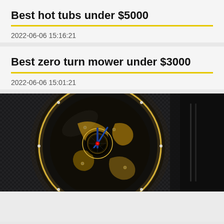Best hot tubs under $5000
2022-06-06 15:16:21
Best zero turn mower under $3000
2022-06-06 15:01:21
[Figure (photo): Close-up photo of an ornate luxury watch movement/face with skeletal design showing gears, blue hands, and diamond-encrusted details against a dark carbon fiber background]